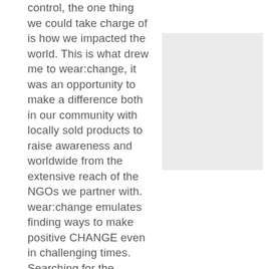control, the one thing we could take charge of is how we impacted the world. This is what drew me to wear:change, it was an opportunity to make a difference both in our community with locally sold products to raise awareness and worldwide from the extensive reach of the NGOs we partner with. wear:change emulates finding ways to make positive CHANGE even in challenging times. Searching for the positive in each situation is something I truly believe in and I
[Figure (photo): A light gray rectangular placeholder image positioned to the right of the text block.]